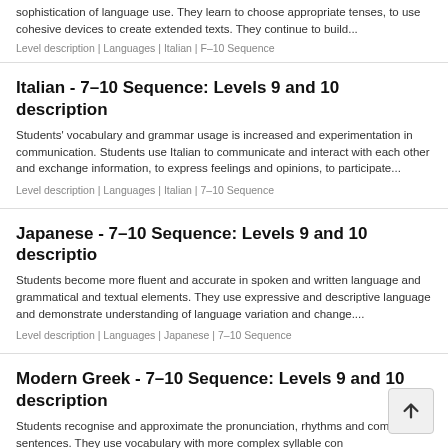sophistication of language use. They learn to choose appropriate tenses, to use cohesive devices to create extended texts. They continue to build...
Level description | Languages | Italian | F–10 Sequence
Italian - 7–10 Sequence: Levels 9 and 10 description
Students' vocabulary and grammar usage is increased and experimentation in communication. Students use Italian to communicate and interact with each other and exchange information, to express feelings and opinions, to participate...
Level description | Languages | Italian | 7–10 Sequence
Japanese - 7–10 Sequence: Levels 9 and 10 description
Students become more fluent and accurate in spoken and written language and grammatical and textual elements. They use expressive and descriptive language and demonstrate understanding of language variation and change....
Level description | Languages | Japanese | 7–10 Sequence
Modern Greek - 7–10 Sequence: Levels 9 and 10 description
Students recognise and approximate the pronunciation, rhythms and compound sentences. They use vocabulary with more complex syllable con...